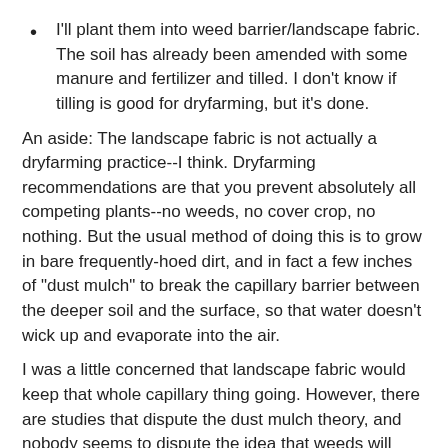I'll plant them into weed barrier/landscape fabric. The soil has already been amended with some manure and fertilizer and tilled. I don't know if tilling is good for dryfarming, but it's done.
An aside: The landscape fabric is not actually a dryfarming practice--I think. Dryfarming recommendations are that you prevent absolutely all competing plants--no weeds, no cover crop, no nothing. But the usual method of doing this is to grow in bare frequently-hoed dirt, and in fact a few inches of "dust mulch" to break the capillary barrier between the deeper soil and the surface, so that water doesn't wick up and evaporate into the air.
I was a little concerned that landscape fabric would keep that whole capillary thing going. However, there are studies that dispute the dust mulch theory, and nobody seems to dispute the idea that weeds will steal water from the crop. And I know my slack weeding habits. So weed barrier it is. We'll see how that works out.
I'll stake... OK, I'm not sure what my plan should be...